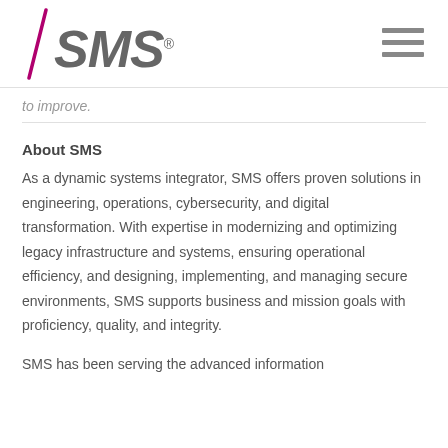SMS
to improve.
About SMS
As a dynamic systems integrator, SMS offers proven solutions in engineering, operations, cybersecurity, and digital transformation. With expertise in modernizing and optimizing legacy infrastructure and systems, ensuring operational efficiency, and designing, implementing, and managing secure environments, SMS supports business and mission goals with proficiency, quality, and integrity.
SMS has been serving the advanced information